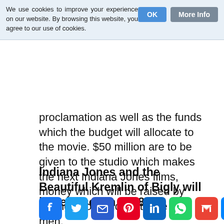We use cookies to improve your experience on our website. By browsing this website, you agree to our use of cookies.
proclamation as well as the funds which the budget will allocate to the movie. $50 million are to be given to the studio which makes the next Indiana Jones films, money which will be raised by selling poor children to the rich men.
Indiana Jones and the Beautiful Kremlin of Bigly will be released in 2018.
[Figure (infographic): Social sharing icons row: Facebook, Twitter, Email, Pinterest, LinkedIn, WhatsApp, Gmail, Messenger, Plus]